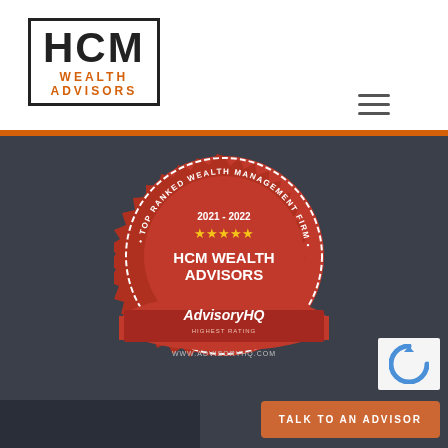[Figure (logo): HCM Wealth Advisors logo — black bordered box with HCM in large bold black letters, WEALTH ADVISORS in orange below]
[Figure (other): Hamburger/menu icon — three horizontal dark lines in top right of header]
[Figure (other): AdvisoryHQ award seal: red circular badge reading TOP RANKED WEALTH MANAGEMENT FIRM, 2021-2022, five gold stars, HCM WEALTH ADVISORS, AdvisoryHQ, HIGHEST RATING, www.advisoryhq.com]
[Figure (other): Partial reCAPTCHA logo visible in lower right corner]
TALK TO AN ADVISOR